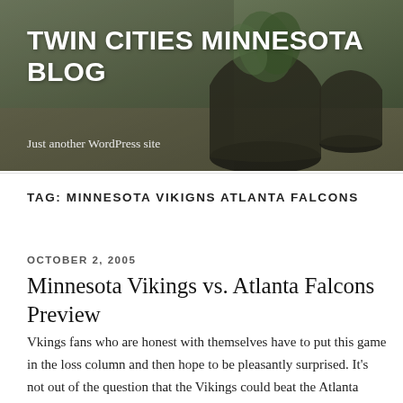[Figure (photo): Blog header banner photo showing indoor plants in dark round pots on a surface, with blurred background, overlaid with site title text]
TWIN CITIES MINNESOTA BLOG
Just another WordPress site
TAG: MINNESOTA VIKIGNS ATLANTA FALCONS
OCTOBER 2, 2005
Minnesota Vikings vs. Atlanta Falcons Preview
Vkings fans who are honest with themselves have to put this game in the loss column and then hope to be pleasantly surprised. It's not out of the question that the Vikings could beat the Atlanta Falcons today, but the odds are stacked heavily against a win.